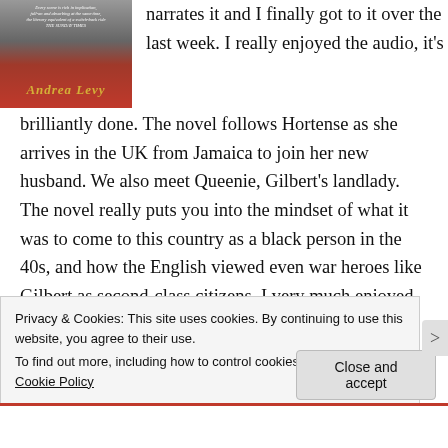[Figure (illustration): Book cover of a novel by Andrea Levy showing a figure in grey tones with red background and the author's name in gold italic text. A quote appears at the top.]
narrates it and I finally got to it over the last week. I really enjoyed the audio, it's brilliantly done. The novel follows Hortense as she arrives in the UK from Jamaica to join her new husband. We also meet Queenie, Gilbert's landlady. The novel really puts you into the mindset of what it was to come to this country as a black person in the 40s, and how the English viewed even war heroes like Gilbert as second-class citizens. I very much enjoyed this novel and I recommend it.
Privacy & Cookies: This site uses cookies. By continuing to use this website, you agree to their use.
To find out more, including how to control cookies, see here:
Cookie Policy
Close and accept